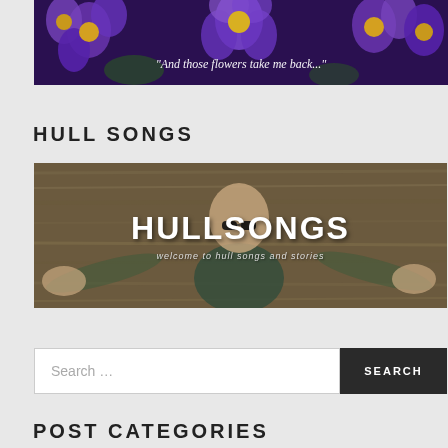[Figure (photo): Purple flowers banner with italic text reading "And those flowers take me back..."]
HULL SONGS
[Figure (photo): Hullsongs website banner showing a man with arms outstretched against a wooden background, with text HULLSONGS and subtitle 'welcome to hull songs and stories']
Search ...
POST CATEGORIES